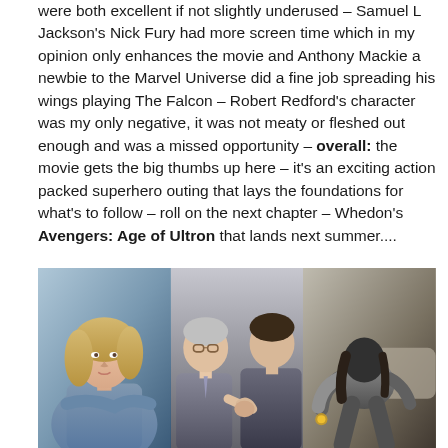were both excellent if not slightly underused – Samuel L Jackson's Nick Fury had more screen time which in my opinion only enhances the movie and Anthony Mackie a newbie to the Marvel Universe did a fine job spreading his wings playing The Falcon – Robert Redford's character was my only negative, it was not meaty or fleshed out enough and was a missed opportunity – overall: the movie gets the big thumbs up here – it's an exciting action packed superhero outing that lays the foundations for what's to follow – roll on the next chapter – Whedon's Avengers: Age of Ultron that lands next summer....
[Figure (photo): Three movie stills side by side: left panel shows a blonde woman in a blue jacket; middle panel shows two men shaking hands indoors, one older in a grey suit; right panel shows an armored figure crouching near a vehicle.]